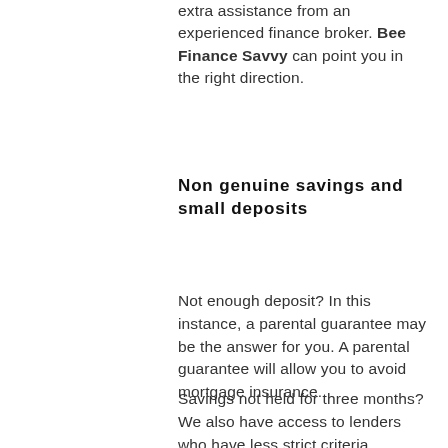extra assistance from an experienced finance broker. Bee Finance Savvy can point you in the right direction.
Non genuine savings and small deposits
Not enough deposit? In this instance, a parental guarantee may be the answer for you. A parental guarantee will allow you to avoid mortgage insurance.
Savings not held for three months? We also have access to lenders who have less strict criteria. Therefore, they  will still approve those who want to purchase a home that don't fit stricter lender's criteria.